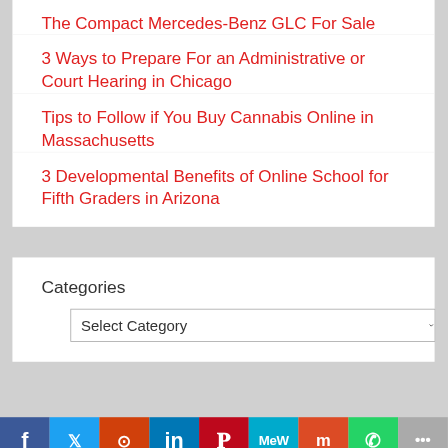The Compact Mercedes-Benz GLC For Sale
3 Ways to Prepare For an Administrative or Court Hearing in Chicago
Tips to Follow if You Buy Cannabis Online in Massachusetts
3 Developmental Benefits of Online School for Fifth Graders in Arizona
Categories
Select Category
[Figure (infographic): Social sharing bar with icons: Facebook (blue), Twitter (light blue), Reddit (orange-red), LinkedIn (dark blue), Pinterest (red), MeWe (teal), Mix (orange), WhatsApp (green), More (gray)]